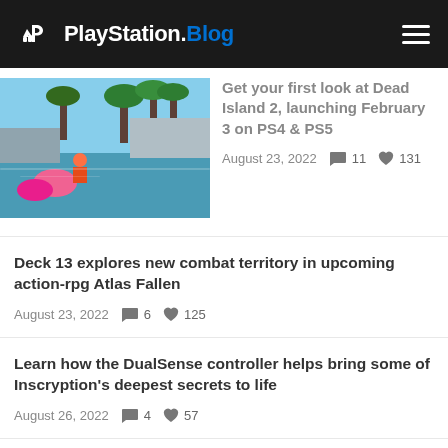PlayStation.Blog
[Figure (photo): Dead Island 2 game screenshot showing tropical resort pool scene with flamingo floats]
Get your first look at Dead Island 2, launching February 3 on PS4 & PS5
August 23, 2022  💬 11  ❤ 131
Deck 13 explores new combat territory in upcoming action-rpg Atlas Fallen
August 23, 2022  💬 6  ❤ 125
Learn how the DualSense controller helps bring some of Inscryption's deepest secrets to life
August 26, 2022  💬 4  ❤ 57